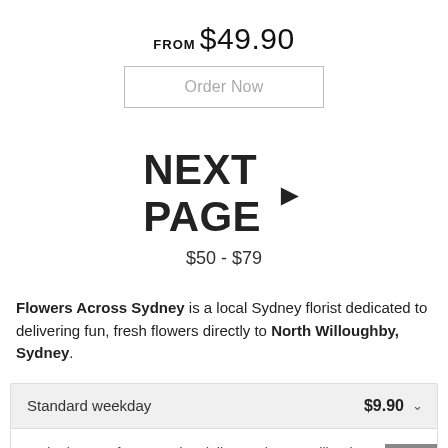FROM $49.90
Order Now
NEXT PAGE ▶
$50 - $79
Flowers Across Sydney is a local Sydney florist dedicated to delivering fun, fresh flowers directly to North Willoughby, Sydney.
Standard weekday $9.90
Order by 2pm for same day delivery. Flowers will arrive between 9am and 5pm to business addresses and between